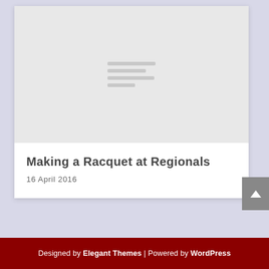[Figure (illustration): Light gray placeholder image area with four horizontal gray lines stacked in the center, representing a loading or placeholder image thumbnail.]
Making a Racquet at Regionals
16 April 2016
Designed by Elegant Themes | Powered by WordPress